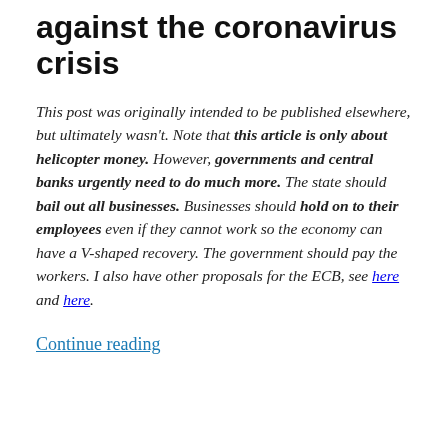against the coronavirus crisis
This post was originally intended to be published elsewhere, but ultimately wasn't. Note that this article is only about helicopter money. However, governments and central banks urgently need to do much more. The state should bail out all businesses. Businesses should hold on to their employees even if they cannot work so the economy can have a V-shaped recovery. The government should pay the workers. I also have other proposals for the ECB, see here and here.
Continue reading